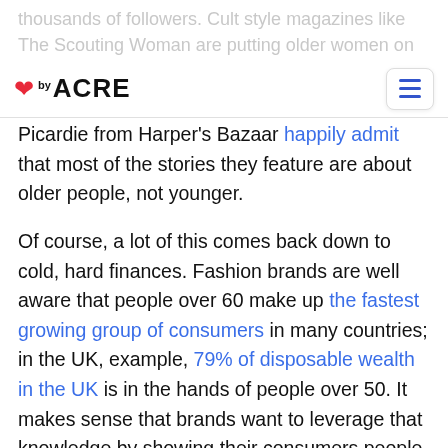thousands of followers. Cult style magazines like The Scouting Woman are putting older women on the cover, and magazine editors like Justine
Picardie from Harper's Bazaar happily admit that most of the stories they feature are about older people, not younger.
Of course, a lot of this comes back down to cold, hard finances. Fashion brands are well aware that people over 60 make up the fastest growing group of consumers in many countries; in the UK, example, 79% of disposable wealth in the UK is in the hands of people over 50. It makes sense that brands want to leverage that knowledge by showing their consumers people they're more likely to relate to over yet another fresh-faced young thing. Even so, this financial motivation